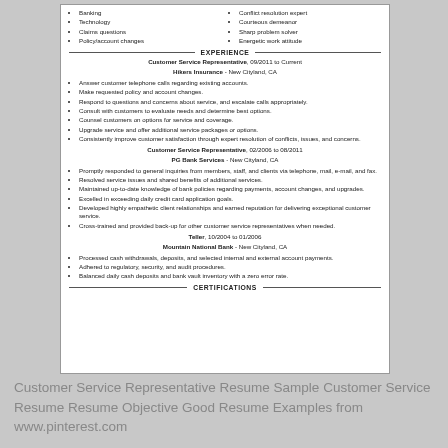Banking
Technology
Claims questions
Policy/account changes
Conflict resolution expert
Courteous demeanor
Sharp problem solver
Energetic work attitude
EXPERIENCE
Customer Service Representative, 09/2011 to Current
Hikers Insurance - New Cityland, CA
Answer customer telephone calls regarding existing accounts.
Make requested policy and account changes.
Respond to questions and concerns about service, and escalate calls appropriately.
Consult with customers to evaluate needs and determine best options.
Counsel customers on options for service and coverage.
Upgrade service and offer additional service packages or options.
Consistently improve customer satisfaction through expert resolution of conflicts, issues, and concerns.
Customer Service Representative, 02/2006 to 08/2011
PG Bank Services - New Cityland, CA
Promptly responded to general inquiries from members, staff, and clients via telephone, mail, e-mail, and fax.
Resolved service issues and shared benefits of additional services.
Maintained up-to-date knowledge of bank policies regarding payments, account changes, and upgrades.
Excelled in exceeding daily credit card application goals.
Developed highly empathetic client relationships and earned reputation for delivering exceptional customer service.
Cross-trained and provided back-up for other customer service representatives when needed.
Teller, 10/2004 to 01/2006
Mountain National Bank - New Cityland, CA
Processed cash withdrawals, deposits, and selected internal and external account payments.
Adhered to regulatory, security, and audit procedures.
Balanced daily cash deposits and bank vault inventory with a zero error rate.
CERTIFICATIONS
Customer Service Representative Resume Sample Customer Service Resume Resume Objective Good Resume Examples from www.pinterest.com